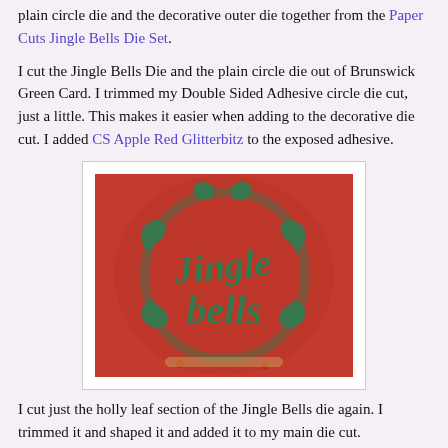plain circle die and the decorative outer die together from the Paper Cuts Jingle Bells Die Set.
I cut the Jingle Bells Die and the plain circle die out of Brunswick Green Card. I trimmed my Double Sided Adhesive circle die cut, just a little. This makes it easier when adding to the decorative die cut. I added CS Apple Red Glitterbitz to the exposed adhesive.
[Figure (photo): Close-up photo of a green die-cut 'Jingle Bells' ornament with red glitter background, showing decorative swirled lettering on a circular die cut piece.]
I cut just the holly leaf section of the Jingle Bells die again. I trimmed it and shaped it and added it to my main die cut.
I removed the backing sheet from my outer frame and added CS